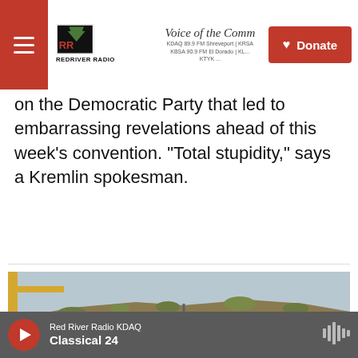Voice of the Com... | Red River Radio | KDAQ 89.9 FM Shreveport | KRSA | KBSA 90.9 FM El Dorado | KL... | KTYK ...
on the Democratic Party that led to embarrassing revelations ahead of this week's convention. "Total stupidity," says a Kremlin spokesman.
[Figure (screenshot): Listen button with play icon showing duration 3:14]
[Figure (photo): Russian naval frigate with hull number 745 docked at a port, with a hillside with dry vegetation in the background]
Red River Radio KDAQ — Classical 24